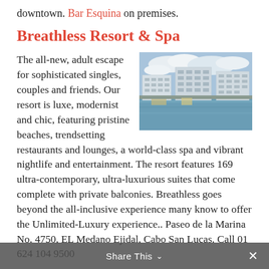downtown. Bar Esquina on premises.
Breathless Resort & Spa
[Figure (photo): Exterior view of Breathless Resort & Spa showing modern white multi-story hotel buildings along a waterfront with a marina and blue sky with clouds.]
The all-new, adult escape for sophisticated singles, couples and friends. Our resort is luxe, modernist and chic, featuring pristine beaches, trendsetting restaurants and lounges, a world-class spa and vibrant nightlife and entertainment. The resort features 169 ultra-contemporary, ultra-luxurious suites that come complete with private balconies. Breathless goes beyond the all-inclusive experience many know to offer the Unlimited-Luxury experience.. Paseo de la Marina No. 4750, EL Medano Ejidal, Cabo San Lucas. Call 01 624 104 9500